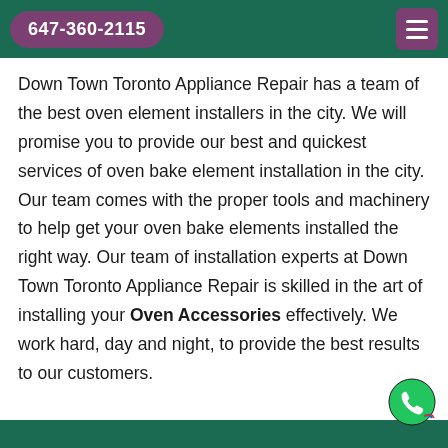647-360-2115
Down Town Toronto Appliance Repair has a team of the best oven element installers in the city. We will promise you to provide our best and quickest services of oven bake element installation in the city. Our team comes with the proper tools and machinery to help get your oven bake elements installed the right way. Our team of installation experts at Down Town Toronto Appliance Repair is skilled in the art of installing your Oven Accessories effectively. We work hard, day and night, to provide the best results to our customers.